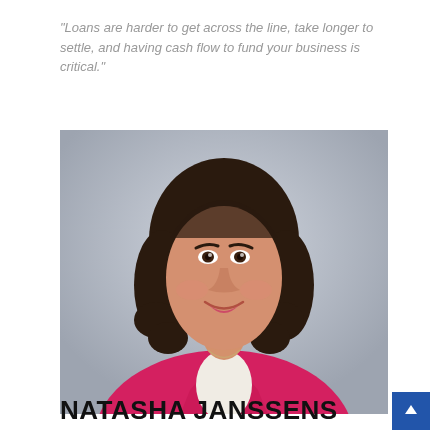"Loans are harder to get across the line, take longer to settle, and having cash flow to fund your business is critical."
[Figure (photo): Professional headshot of Natasha Janssens, a woman with dark wavy hair, wearing a bright pink/red blazer over a white top, smiling against a light grey background.]
NATASHA JANSSENS